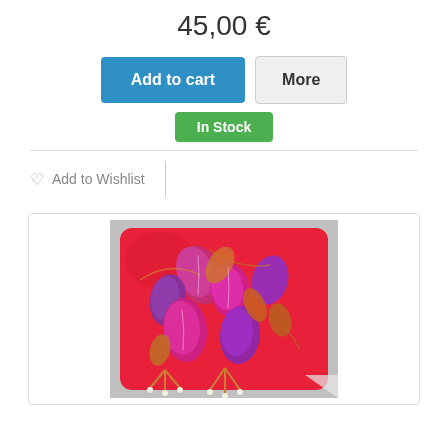45,00 €
Add to cart
More
In Stock
♡ Add to Wishlist
[Figure (photo): A decorative throw pillow with a vibrant floral pattern featuring fuchsia, magenta, and purple flower buds with orange leaves on a red background]